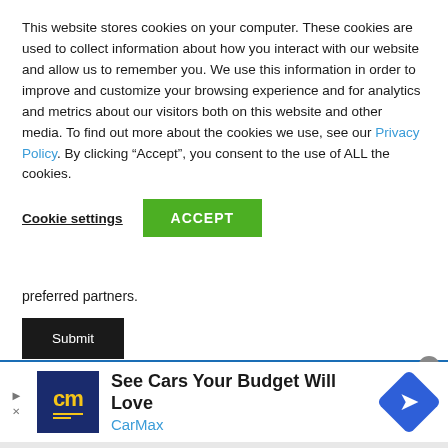This website stores cookies on your computer. These cookies are used to collect information about how you interact with our website and allow us to remember you. We use this information in order to improve and customize your browsing experience and for analytics and metrics about our visitors both on this website and other media. To find out more about the cookies we use, see our Privacy Policy. By clicking “Accept”, you consent to the use of ALL the cookies.
Cookie settings
ACCEPT
preferred partners.
Submit
[Figure (infographic): CarMax advertisement banner: CarMax logo (dark blue box with yellow 'cm' text), headline 'See Cars Your Budget Will Love', brand name 'CarMax' in blue, blue diamond-shaped navigation arrow icon on the right. Close button (X in gray circle) at top right of banner.]